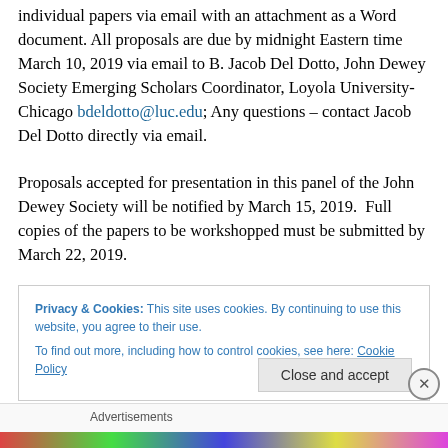individual papers via email with an attachment as a Word document. All proposals are due by midnight Eastern time March 10, 2019 via email to B. Jacob Del Dotto, John Dewey Society Emerging Scholars Coordinator, Loyola University-Chicago bdeldotto@luc.edu; Any questions – contact Jacob Del Dotto directly via email. Proposals accepted for presentation in this panel of the John Dewey Society will be notified by March 15, 2019. Full copies of the papers to be workshopped must be submitted by March 22, 2019.
Privacy & Cookies: This site uses cookies. By continuing to use this website, you agree to their use. To find out more, including how to control cookies, see here: Cookie Policy
Close and accept
Advertisements